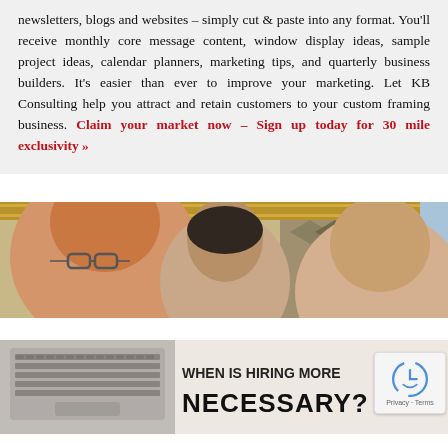newsletters, blogs and websites – simply cut & paste into any format. You'll receive monthly core message content, window display ideas, sample project ideas, calendar planners, marketing tips, and quarterly business builders. It's easier than ever to improve your marketing. Let KB Consulting help you attract and retain customers to your custom framing business. Claim your market now – Sign up today for 30 mile exclusivity »
[Figure (photo): Photo of three people smiling, with picture frame samples visible in the background]
[Figure (infographic): Promotional banner image showing a laptop on the left with text on the right reading 'WHEN IS HIRING MORE NECESSARY?' in bold black text on a light background]